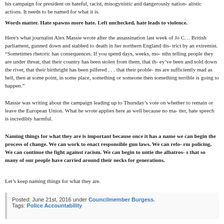his campaign for president on hateful, racist, misogynistic and dangerously nationalistic actions. It needs to be named for what it is.
Words matter. Hate spawns more hate. Left unchecked, hate leads to violence.
Here's what journalist Alex Massie wrote after the assassination last week of Jo C... British parliament, gunned down and stabbed to death in her northern England district by an extremist. "Sometimes rhetoric has consequences. If you spend days, weeks, months telling people they are under threat, that their country has been stolen from them, that they've been and sold down the river, that their birthright has been pilfered . . . that their problems are sufficiently mad as hell, then at some point, in some place, something or someone is going, then something terrible is going to happen."
Massie was writing about the campaign leading up to Thursday's vote on whether to remain or leave the European Union. What he wrote applies here as well because no matter, hate speech is incredibly harmful.
Naming things for what they are is important because once it has a name we can begin the process of change. We can work to enact responsible gun laws. We can reform policing. We can continue the fight against racism. We can begin to untie the albatross that so many of our people have carried around their necks for generations.
Let's keep naming things for what they are.
Posted: June 21st, 2016 under Councilmember Burgess.
Tags: Police Accountability